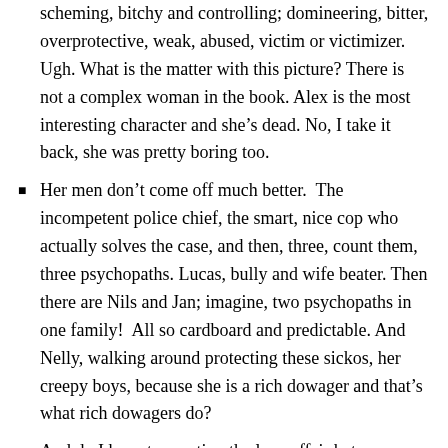scheming, bitchy and controlling; domineering, bitter, overprotective, weak, abused, victim or victimizer. Ugh. What is the matter with this picture? There is not a complex woman in the book. Alex is the most interesting character and she’s dead. No, I take it back, she was pretty boring too.
Her men don’t come off much better. The incompetent police chief, the smart, nice cop who actually solves the case, and then, three, count them, three psychopaths. Lucas, bully and wife beater. Then there are Nils and Jan; imagine, two psychopaths in one family! All so cardboard and predictable. And Nelly, walking around protecting these sickos, her creepy boys, because she is a rich dowager and that’s what rich dowagers do?
And do I have to mention the love affair between Patrick and Erica. Stop, just stop. Please stop. “Bingo